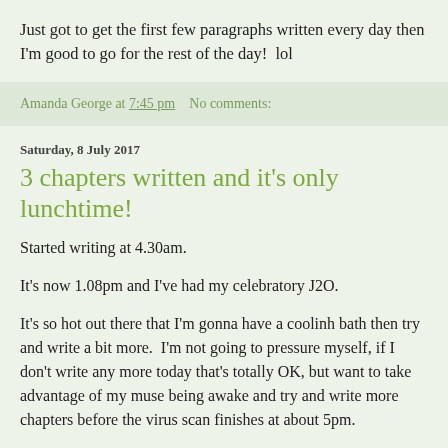Just got to get the first few paragraphs written every day then I'm good to go for the rest of the day!  lol
Amanda George at 7:45 pm   No comments:
Saturday, 8 July 2017
3 chapters written and it's only lunchtime!
Started writing at 4.30am.
It's now 1.08pm and I've had my celebratory J2O.
It's so hot out there that I'm gonna have a coolinh bath then try and write a bit more.  I'm not going to pressure myself, if I don't write any more today that's totally OK, but want to take advantage of my muse being awake and try and write more chapters before the virus scan finishes at about 5pm.
Feeling proud of myself already though!